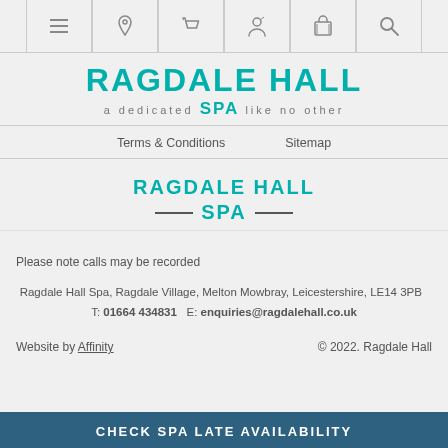Navigation bar with menu, location, phone, account, basket, search icons
RAGDALE HALL SPA — a dedicated SPA like no other
Terms & Conditions    Sitemap
RAGDALE HALL SPA
Please note calls may be recorded
Ragdale Hall Spa, Ragdale Village, Melton Mowbray, Leicestershire, LE14 3PB   T: 01664 434831   E: enquiries@ragdalehall.co.uk
Website by Affinity    © 2022. Ragdale Hall
CHECK SPA LATE AVAILABILITY